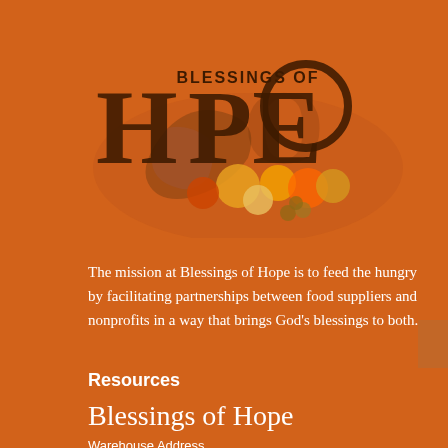[Figure (logo): Blessings of Hope logo with cornucopia and fruits/vegetables, text 'BLESSINGS OF HOPE' in large serif letters]
The mission at Blessings of Hope is to feed the hungry by facilitating partnerships between food suppliers and nonprofits in a way that brings God’s blessings to both.
Resources
Blessings of Hope
Warehouse Address
500 Becker Rd. Leola, PA 17540